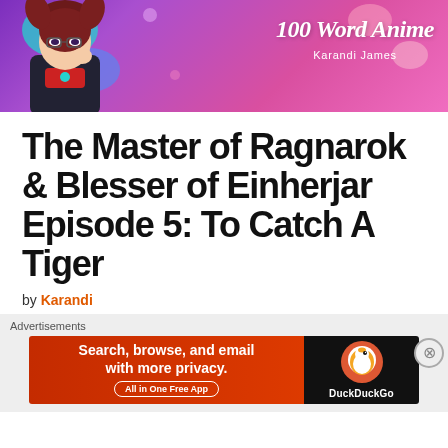[Figure (illustration): Banner for '100 Word Anime' blog by Karandi James. Purple-to-pink gradient background with decorative blobs, an anime-style female character with dark hair and glasses on the left, and the blog title '100 Word Anime' with 'Karandi James' subtitle on the right.]
The Master of Ragnarok & Blesser of Einherjar Episode 5: To Catch A Tiger
by Karandi
[Figure (screenshot): DuckDuckGo advertisement banner. Red background on left with text 'Search, browse, and email with more privacy. All in One Free App'. Black background on right with DuckDuckGo duck logo and 'DuckDuckGo' text. Above the ad is an 'Advertisements' label.]